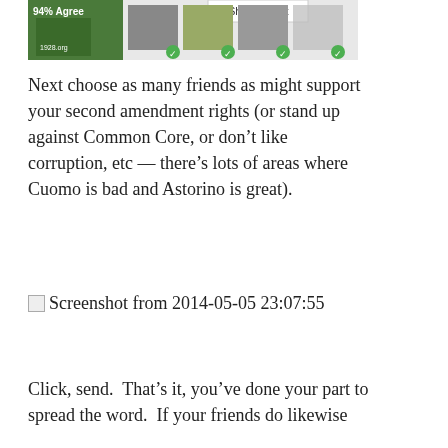[Figure (screenshot): Partial screenshot of a social media or app interface showing 'Share Event' overlay, profile photos with green checkmarks, and a '94% Agree' badge with a New York state icon.]
Next choose as many friends as might support your second amendment rights (or stand up against Common Core, or don't like corruption, etc — there's lots of areas where Cuomo is bad and Astorino is great).
[Figure (screenshot): Screenshot from 2014-05-05 23:07:55 — broken/missing image placeholder shown in browser.]
Click, send.  That's it, you've done your part to spread the word.  If your friends do likewise